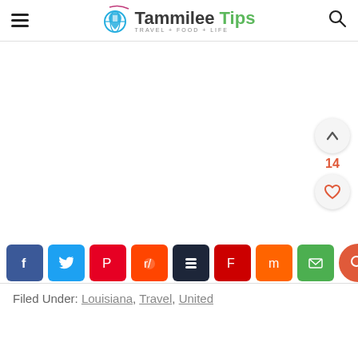Tammilee Tips — TRAVEL + FOOD + LIFE
[Figure (screenshot): White blank content area]
[Figure (infographic): Social share buttons row: Facebook, Twitter, Pinterest, Reddit, Buffer, Flipboard, Mix, Email, and a search circle button]
Filed Under: Louisiana, Travel, United